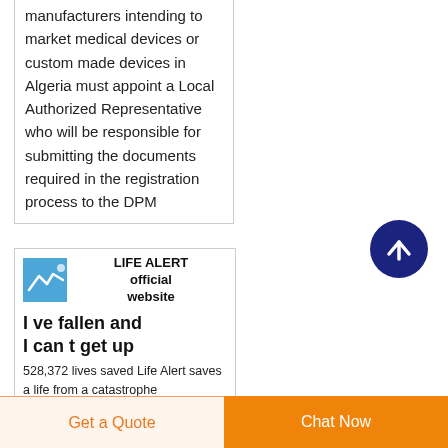manufacturers intending to market medical devices or custom made devices in Algeria must appoint a Local Authorized Representative who will be responsible for submitting the documents required in the registration process to the DPM
[Figure (other): Dark navy blue circular scroll-to-top button with white upward arrow icon]
[Figure (screenshot): Life Alert official website card with logo, headline 'I ve fallen and I can t get up', and subtext about 528,372 lives saved]
LIFE ALERT official website
I ve fallen and I can t get up
528,372 lives saved Life Alert saves a life from a catastrophe
Get a Quote
Chat Now